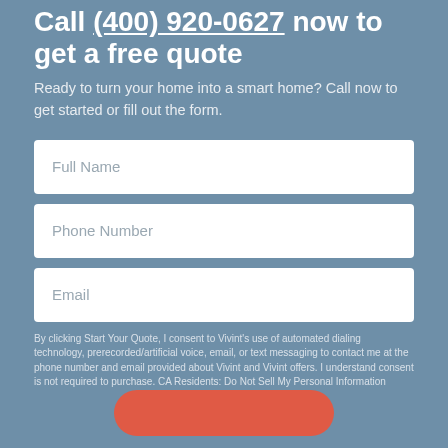Call (400) 920-0627 now to get a free quote
Ready to turn your home into a smart home? Call now to get started or fill out the form.
[Figure (other): Web form with three input fields: Full Name, Phone Number, Email]
By clicking Start Your Quote, I consent to Vivint's use of automated dialing technology, prerecorded/artificial voice, email, or text messaging to contact me at the phone number and email provided about Vivint and Vivint offers. I understand consent is not required to purchase. CA Residents: Do Not Sell My Personal Information